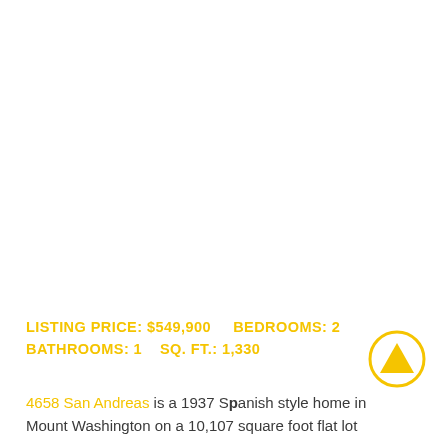[Figure (photo): Property photo area (white/blank in this view)]
LISTING PRICE: $549,900    BEDROOMS: 2    BATHROOMS: 1    SQ. FT.: 1,330
4658 San Andreas is a 1937 Spanish style home in Mount Washington on a 10,107 square foot flat lot